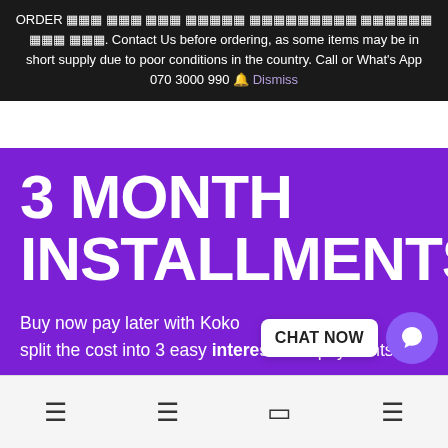ORDER ꩜꩜꩜ ꩜꩜꩜ ꩜꩜꩜ ꩜꩜꩜꩜꩜ ꩜꩜꩜꩜꩜꩜꩜꩜꩜ ꩜꩜꩜꩜꩜꩜ ꩜꩜꩜ ꩜꩜꩜. Contact Us before ordering, as some items may be in short supply due to poor conditions in the country. Call or What's App 070 3000 990 🔔 Dismiss
3 MONTH INSTALLMENTS
Buy now pay later with Koko split the cost into 3 easy interest-free payments.
🔗 GET THE APP
CHAT NOW